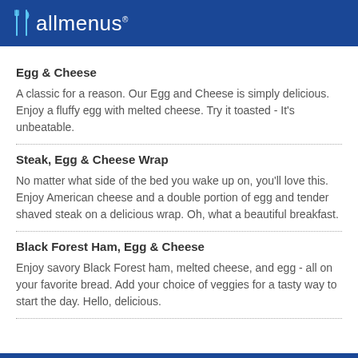allmenus
Egg & Cheese
A classic for a reason. Our Egg and Cheese is simply delicious. Enjoy a fluffy egg with melted cheese. Try it toasted - It's unbeatable.
Steak, Egg & Cheese Wrap
No matter what side of the bed you wake up on, you'll love this. Enjoy American cheese and a double portion of egg and tender shaved steak on a delicious wrap. Oh, what a beautiful breakfast.
Black Forest Ham, Egg & Cheese
Enjoy savory Black Forest ham, melted cheese, and egg - all on your favorite bread. Add your choice of veggies for a tasty way to start the day. Hello, delicious.